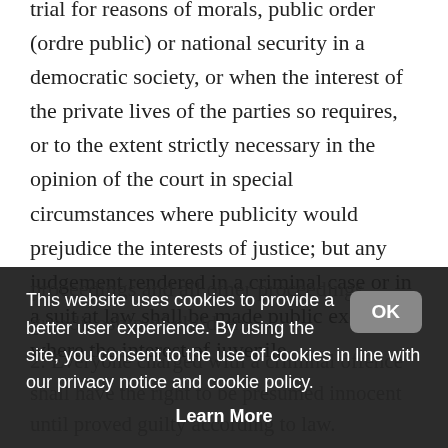trial for reasons of morals, public order (ordre public) or national security in a democratic society, or when the interest of the private lives of the parties so requires, or to the extent strictly necessary in the opinion of the court in special circumstances where publicity would prejudice the interests of justice; but any judgement rendered in a criminal case or in a suit at law shall be made public except where the interest of juvenile
proceedings... guardianship of children.
2. Everyone charged with a criminal offence shall have the right to be presumed innocent until proved guilty according to law.
This website uses cookies to provide a better user experience. By using the site, you consent to the use of cookies in line with our privacy notice and cookie policy. Learn More